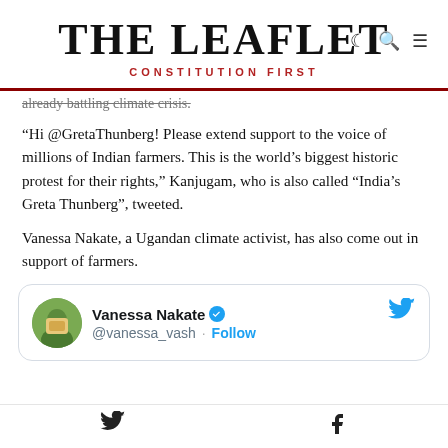THE LEAFLET — CONSTITUTION FIRST
already battling climate crisis.
“Hi @GretaThunberg! Please extend support to the voice of millions of Indian farmers. This is the world’s biggest historic protest for their rights,” Kanjugam, who is also called “India’s Greta Thunberg”, tweeted.
Vanessa Nakate, a Ugandan climate activist, has also come out in support of farmers.
[Figure (screenshot): Tweet card from Vanessa Nakate (@vanessa_vash) with verified badge and Follow button, Twitter bird icon top right]